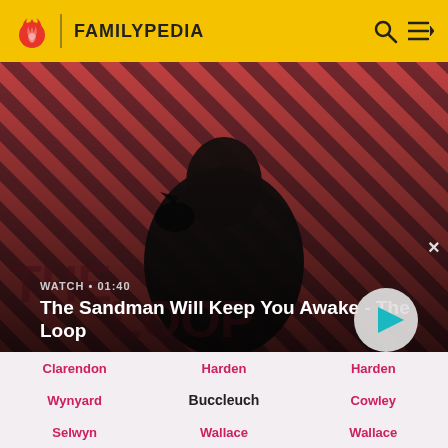FAMILYPEDIA
[Figure (screenshot): Hero banner showing a dark-styled man in black cape with a bird on shoulder, diagonal striped red and dark background. Text overlay: WATCH • 01:40, The Sandman Will Keep You Awake - The Loop]
The Sandman Will Keep You Awake - The Loop
Clarendon
Harden
Harden
Wynyard
Buccleuch
Cowley
Selwyn
Wallace
Wallace